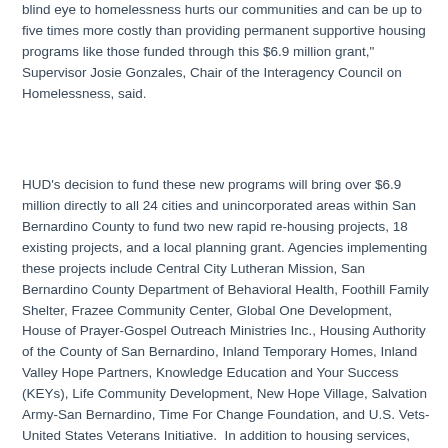blind eye to homelessness hurts our communities and can be up to five times more costly than providing permanent supportive housing programs like those funded through this $6.9 million grant,"  Supervisor Josie Gonzales, Chair of the Interagency Council on Homelessness, said.
HUD's decision to fund these new programs will bring over $6.9 million directly to all 24 cities and unincorporated areas within San Bernardino County to fund two new rapid re-housing projects, 18 existing projects, and a local planning grant. Agencies implementing these projects include Central City Lutheran Mission, San Bernardino County Department of Behavioral Health, Foothill Family Shelter, Frazee Community Center, Global One Development, House of Prayer-Gospel Outreach Ministries Inc., Housing Authority of the County of San Bernardino, Inland Temporary Homes, Inland Valley Hope Partners, Knowledge Education and Your Success (KEYs), Life Community Development, New Hope Village, Salvation Army-San Bernardino, Time For Change Foundation, and U.S. Vets-United States Veterans Initiative.  In addition to housing services, CoC grants fund a wide range of activities including, street outreach, assessments, mental health counseling, employment counseling, substance abuse treatment and child care.